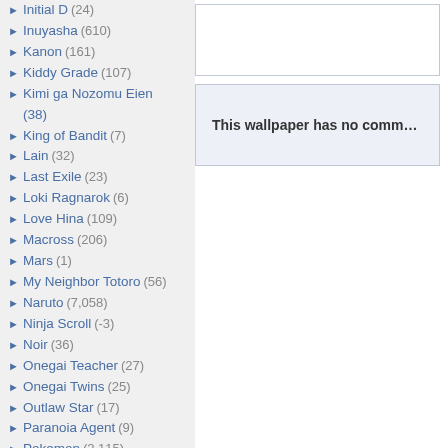Initial D (24)
Inuyasha (610)
Kanon (161)
Kiddy Grade (107)
Kimi ga Nozomu Eien (38)
King of Bandit (7)
Lain (32)
Last Exile (23)
Loki Ragnarok (6)
Love Hina (109)
Macross (206)
Mars (1)
My Neighbor Totoro (56)
Naruto (7,058)
Ninja Scroll (-3)
Noir (36)
Onegai Teacher (27)
Onegai Twins (25)
Outlaw Star (17)
Paranoia Agent (9)
Pokemon (2,115)
Rahxephon (26)
Ranma (84)
Read or Die (39)
Robotech (165)
Rurouni Kenshin (226)
Sailor Moon (2,826)
Scrapped Princess (18)
Slayers (64)
This wallpaper has no comm…